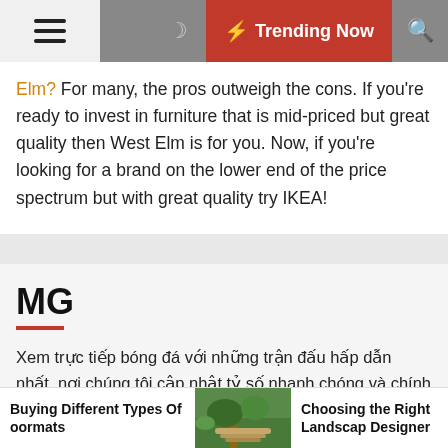⚡ Trending Now
Elm? For many, the pros outweigh the cons. If you're ready to invest in furniture that is mid-priced but great quality then West Elm is for you. Now, if you're looking for a brand on the lower end of the price spectrum but with great quality try IKEA!
MG
Xem trực tiếp bóng đá với những trận đấu hấp dẫn nhất, nơi chúng tôi cập nhật tỷ số nhanh chóng và chính xác nhất , bạn có thể đặt lịch trên trang của chúng tôi để không bỏ lỡ những trận đấu đỉnh cao xôi lạc tv Chúng tôi trực tiếp những trận bóng ở Việt Nam và cả Thế Giới, những giải bóng đẳng cấp toàn cầu như World Cup , Euro , các giải cấp châu âu cấp châu á
Buying Different Types Of oormats | Choosing the Right Landscape Designer